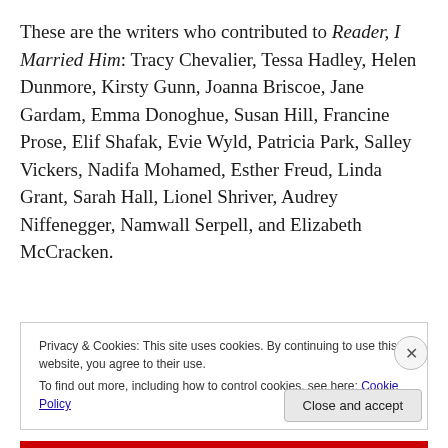These are the writers who contributed to Reader, I Married Him: Tracy Chevalier, Tessa Hadley, Helen Dunmore, Kirsty Gunn, Joanna Briscoe, Jane Gardam, Emma Donoghue, Susan Hill, Francine Prose, Elif Shafak, Evie Wyld, Patricia Park, Salley Vickers, Nadifa Mohamed, Esther Freud, Linda Grant, Sarah Hall, Lionel Shriver, Audrey Niffenegger, Namwall Serpell, and Elizabeth McCracken.
Privacy & Cookies: This site uses cookies. By continuing to use this website, you agree to their use. To find out more, including how to control cookies, see here: Cookie Policy